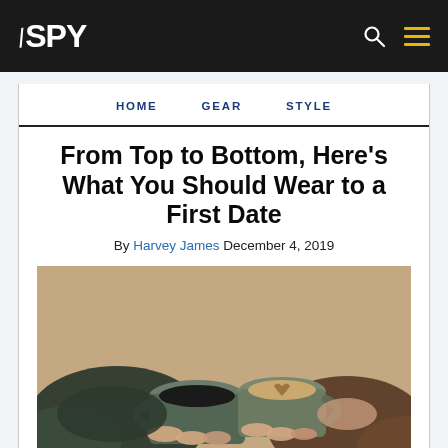SPY
HOME  GEAR  STYLE
From Top to Bottom, Here's What You Should Wear to a First Date
By Harvey James  December 4, 2019
[Figure (photo): Two hands holding ceramic coffee mugs clinking together over a wooden table surface, one mug with black coffee and one with latte art.]